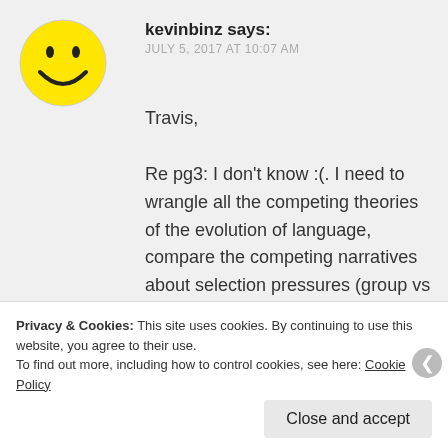[Figure (illustration): Yellow smiley face avatar icon]
kevinbinz says:
JULY 5, 2017 AT 10:07 AM
Travis,

Re pg3: I don't know :(. I need to wrangle all the competing theories of the evolution of language, compare the competing narratives about selection pressures (group vs sexual vs individual).
Re pg4: One way of expressing the
Privacy & Cookies: This site uses cookies. By continuing to use this website, you agree to their use.
To find out more, including how to control cookies, see here: Cookie Policy
Close and accept